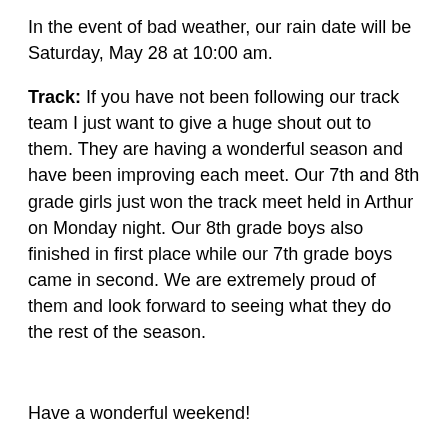In the event of bad weather, our rain date will be Saturday, May 28 at 10:00 am.
Track: If you have not been following our track team I just want to give a huge shout out to them. They are having a wonderful season and have been improving each meet. Our 7th and 8th grade girls just won the track meet held in Arthur on Monday night. Our 8th grade boys also finished in first place while our 7th grade boys came in second. We are extremely proud of them and look forward to seeing what they do the rest of the season.
Have a wonderful weekend!